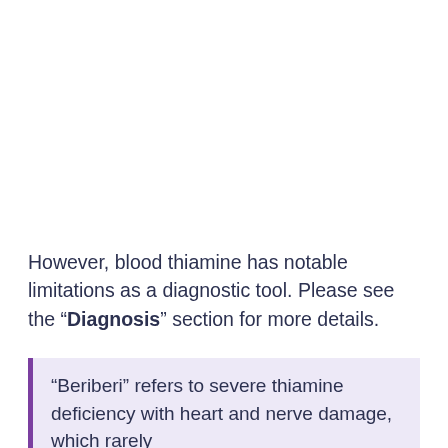However, blood thiamine has notable limitations as a diagnostic tool. Please see the “Diagnosis” section for more details.
“Beriberi” refers to severe thiamine deficiency with heart and nerve damage, which rarely occurs in developed countries. Blood levels of < 66-70 nmol/L of thiamine diphosphate may